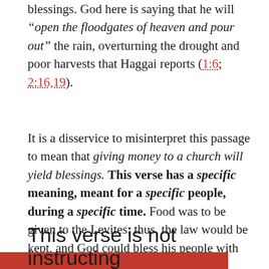blessings. God here is saying that he will “open the floodgates of heaven and pour out” the rain, overturning the drought and poor harvests that Haggai reports (1:6; 2:16,19).
It is a disservice to misinterpret this passage to mean that giving money to a church will yield blessings. This verse has a specific meaning, meant for a specific people, during a specific time. Food was to be given to the Levites; thus, the law would be kept, and God could bless his people with more crops.
This verse is not instructing